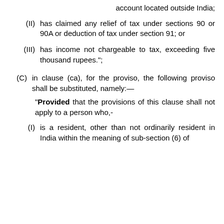account located outside India;
(II) has claimed any relief of tax under sections 90 or 90A or deduction of tax under section 91; or
(III) has income not chargeable to tax, exceeding five thousand rupees.";
(C) in clause (ca), for the proviso, the following proviso shall be substituted, namely:—
"Provided that the provisions of this clause shall not apply to a person who,-
(I) is a resident, other than not ordinarily resident in India within the meaning of sub-section (6) of